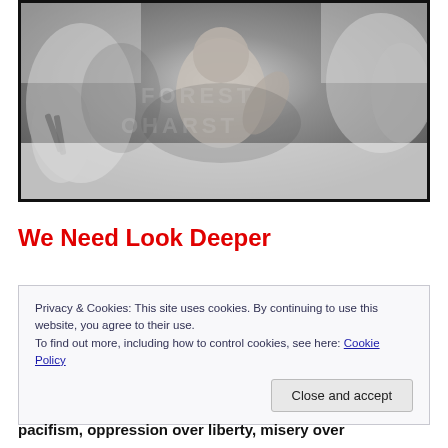[Figure (photo): Black and white photograph showing medical professionals during a birth/delivery scene, with hands visible and a newborn infant being delivered. Watermark text partially visible.]
We Need Look Deeper
Privacy & Cookies: This site uses cookies. By continuing to use this website, you agree to their use.
To find out more, including how to control cookies, see here: Cookie Policy
pacifism, oppression over liberty, misery over